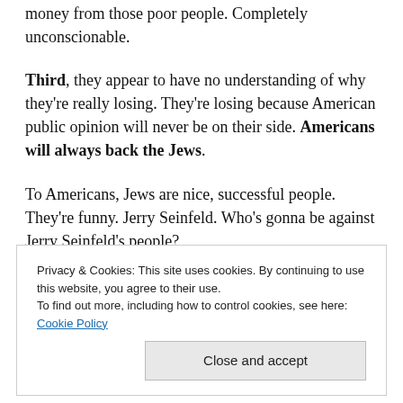money from those poor people. Completely unconscionable.
Third, they appear to have no understanding of why they're really losing. They're losing because American public opinion will never be on their side. Americans will always back the Jews.
To Americans, Jews are nice, successful people. They're funny. Jerry Seinfeld. Who's gonna be against Jerry Seinfeld's people?
You may think this is silly, but trust me, it's anything but
Privacy & Cookies: This site uses cookies. By continuing to use this website, you agree to their use.
To find out more, including how to control cookies, see here: Cookie Policy
and that there is no way on Earth you can parse